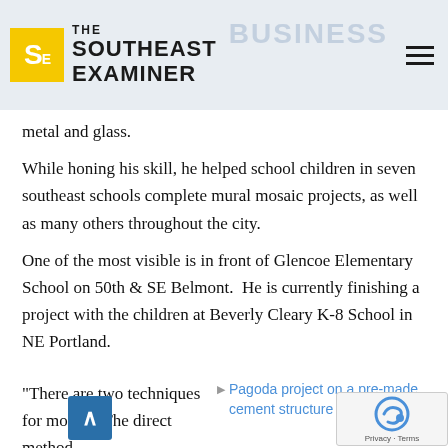THE SOUTHEAST EXAMINER
metal and glass.
While honing his skill, he helped school children in seven southeast schools complete mural mosaic projects, as well as many others throughout the city.
One of the most visible is in front of Glencoe Elementary School on 50th & SE Belmont.  He is currently finishing a project with the children at Beverly Cleary K-8 School in NE Portland.
“There are two techniques for mosaic. The direct method
[Figure (photo): Pagoda project on a pre-made cement structure — image placeholder with blue link text]